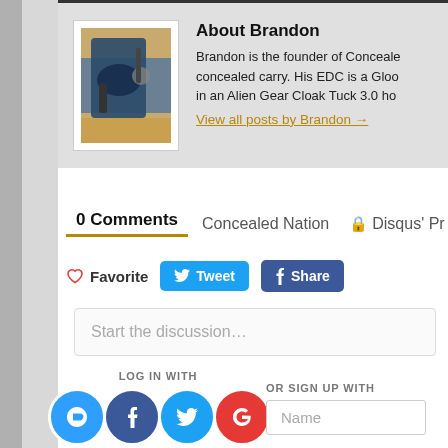About Brandon
Brandon is the founder of Concealed Nation and is passionate about concealed carry. His EDC is a Glock 23 that is carried in an Alien Gear Cloak Tuck 3.0 ho...
View all posts by Brandon →
0 Comments
Concealed Nation
🔒 Disqus' Pr
♡ Favorite  Tweet  Share
Start the discussion…
LOG IN WITH
OR SIGN UP WITH
Name